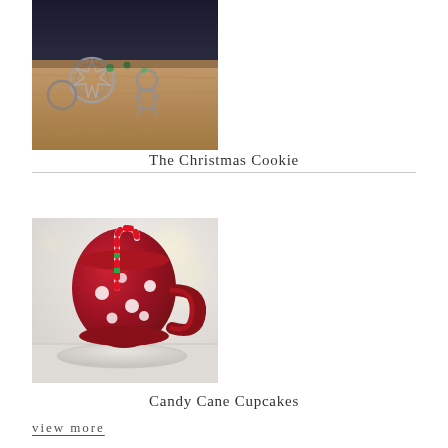[Figure (photo): Cookie cutters and baking tools on a wooden surface, photographed from above with dark background]
The Christmas Cookie
[Figure (photo): Red polka-dot mug with candy canes inside and beside it, soft bokeh background]
Candy Cane Cupcakes
view more